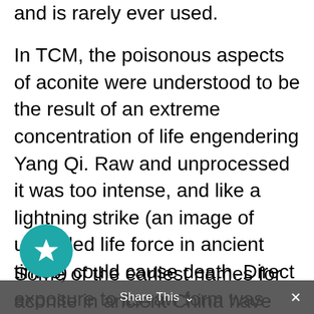and is rarely ever used.
In TCM, the poisonous aspects of aconite were understood to be the result of an extreme concentration of life engendering Yang Qi. Raw and unprocessed it was too intense, and like a lightning strike (an image of unbridled life force in ancient times) could cause death. Direct exposure to its raw form was simply too powerful and dangerous. In its processed forms, it can save lives.
Some of the earliest names for aconite in ancient China have gone on to become synonymous with the idea of “medicine” itself. The herb’s ability to tonify Yang Qi, led to names such as Jin (Fertile Earth), Gen
Share This